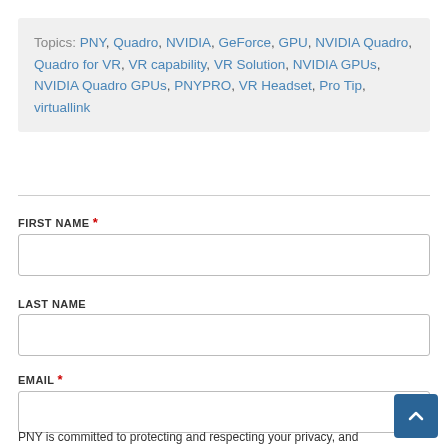Topics: PNY, Quadro, NVIDIA, GeForce, GPU, NVIDIA Quadro, Quadro for VR, VR capability, VR Solution, NVIDIA GPUs, NVIDIA Quadro GPUs, PNYPRO, VR Headset, Pro Tip, virtuallink
FIRST NAME *
LAST NAME
EMAIL *
PNY is committed to protecting and respecting your privacy, and we'll only use your personal information to administer your account and to provide the products and services you requested from